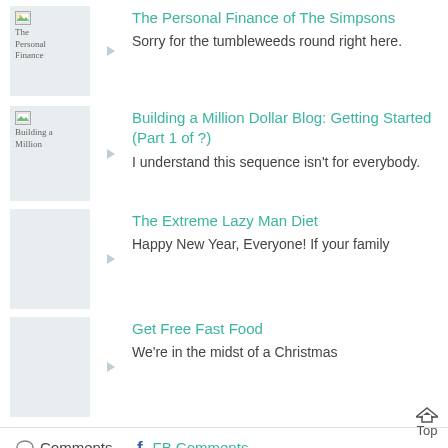[Figure (screenshot): Thumbnail image placeholder for 'The Personal Finance of The Simpsons' with broken image icon and text]
The Personal Finance of The Simpsons
Sorry for the tumbleweeds round right here.
[Figure (screenshot): Thumbnail image placeholder for 'Building a Million Dollar Blog' with broken image icon]
Building a Million Dollar Blog: Getting Started (Part 1 of ?)
I understand this sequence isn't for everybody.
[Figure (screenshot): Gray thumbnail placeholder for The Extreme Lazy Man Diet]
The Extreme Lazy Man Diet
Happy New Year, Everyone! If your family
[Figure (screenshot): Gray thumbnail placeholder for Get Free Fast Food]
Get Free Fast Food
We're in the midst of a Christmas
Comments
FB Comments
Leave a reply "How Much are You Spending or
Top